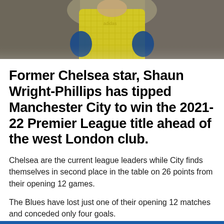[Figure (photo): A footballer wearing a yellow mesh training vest and blue gloves, partially visible from shoulders up, blurred background]
Former Chelsea star, Shaun Wright-Phillips has tipped Manchester City to win the 2021-22 Premier League title ahead of the west London club.
Chelsea are the current league leaders while City finds themselves in second place in the table on 26 points from their opening 12 games.
The Blues have lost just one of their opening 12 matches and conceded only four goals.
Ahead of this weekend's game against Manchester